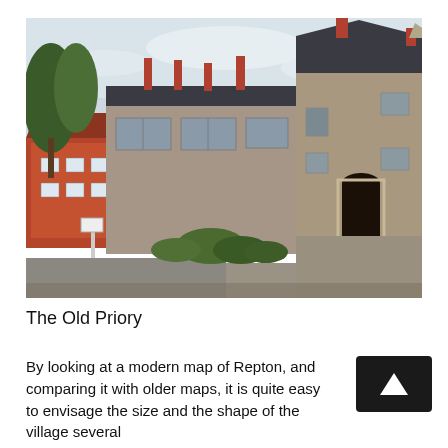[Figure (photo): Photograph of The Old Priory, a large medieval stone building with dark slate roofs, multiple gabled dormers, brick chimneys, and an arched entrance with stone steps. Trees and shrubs visible on the left, a road in the foreground, and a red-brick building visible in the background to the left.]
The Old Priory
By looking at a modern map of Repton, and comparing it with older maps, it is quite easy to envisage the size and the shape of the village several